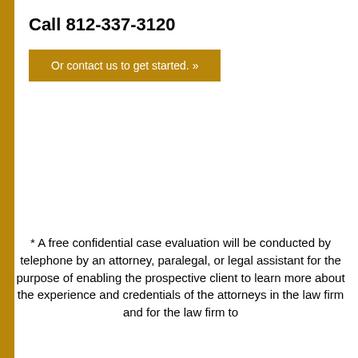Call 812-337-3120
Or contact us to get started. »
* A free confidential case evaluation will be conducted by telephone by an attorney, paralegal, or legal assistant for the purpose of enabling the prospective client to learn more about the experience and credentials of the attorneys in the law firm and for the law firm to